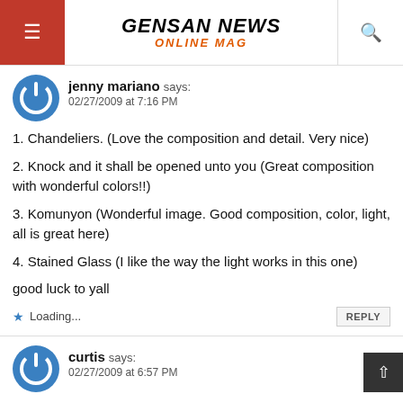GENSAN NEWS ONLINE MAG
jenny mariano says:
02/27/2009 at 7:16 PM
1. Chandeliers. (Love the composition and detail. Very nice)
2. Knock and it shall be opened unto you (Great composition with wonderful colors!!)
3. Komunyon (Wonderful image. Good composition, color, light, all is great here)
4. Stained Glass (I like the way the light works in this one)
good luck to yall
Loading...
curtis says:
02/27/2009 at 6:57 PM